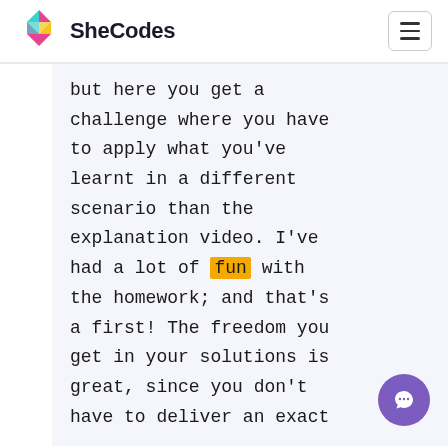SheCodes
but here you get a challenge where you have to apply what you've learnt in a different scenario than the explanation video. I've had a lot of fun with the homework; and that's a first! The freedom you get in your solutions is great, since you don't have to deliver an exact